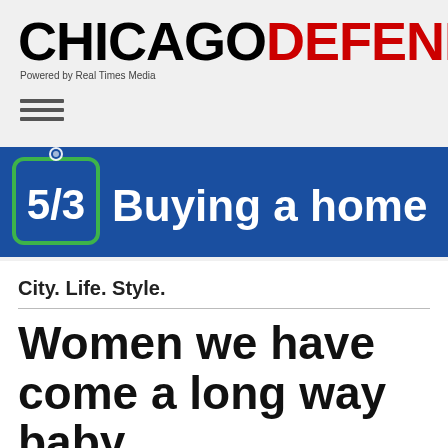CHICAGO DEFENDER - Powered by Real Times Media
[Figure (logo): Fifth Third Bank advertisement banner: '5/3 Buying a home' on blue background]
City. Life. Style.
Women we have come a long way baby . . ...